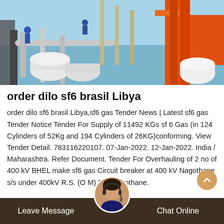[Figure (photo): Workers on industrial equipment/scaffolding with orange crane machinery, appears to be an electrical substation or oil/gas installation site with blue sky background]
order dilo sf6 brasil Libya
order dilo sf6 brasil Libya,sf6 gas Tender News | Latest sf6 gas Tender Notice Tender For Supply of 11492 KGs sf 6 Gas (in 124 Cylinders of 52Kg and 194 Cylinders of 26KG)conforming. View Tender Detail. 783116220107. 07-Jan-2022. 12-Jan-2022. India / Maharashtra. Refer Document. Tender For Overhauling of 2 no of 400 kV BHEL make sf6 gas Circuit breaker at 400 kV Nagothane s/s under 400kV R.S. (O M) Dn. Nagothane.
Leave Message    Chat Online